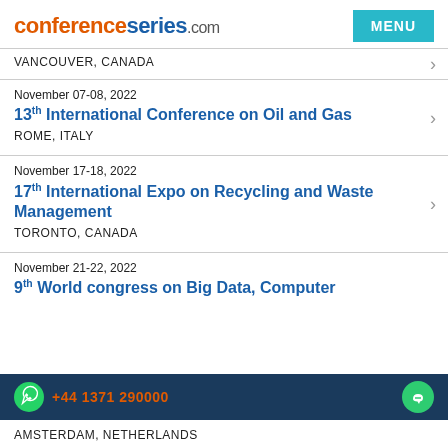conferenceseries.com | MENU
VANCOUVER, CANADA
November 07-08, 2022
13th International Conference on Oil and Gas
ROME, ITALY
November 17-18, 2022
17th International Expo on Recycling and Waste Management
TORONTO, CANADA
November 21-22, 2022
9th World congress on Big Data, Computer
+44 1371 290000
AMSTERDAM, NETHERLANDS